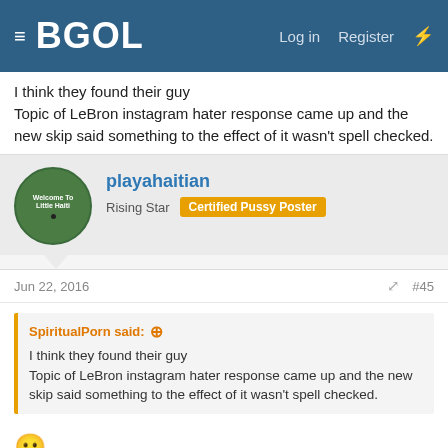BGOL — Log in Register
I think they found their guy
Topic of LeBron instagram hater response came up and the new skip said something to the effect of it wasn't spell checked.
playahaitian
Rising Star  Certified Pussy Poster
Jun 22, 2016  #45
SpiritualPorn said:
I think they found their guy
Topic of LeBron instagram hater response came up and the new skip said something to the effect of it wasn't spell checked.
😐
I really hope people stop watching that show.